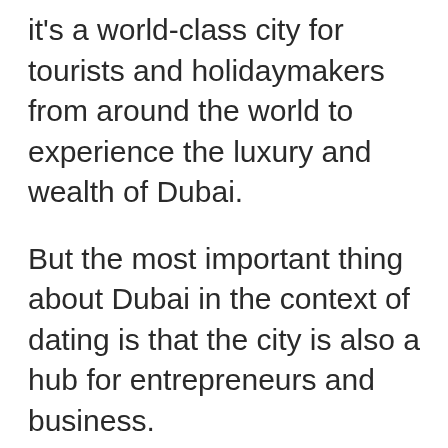it's a world-class city for tourists and holidaymakers from around the world to experience the luxury and wealth of Dubai.
But the most important thing about Dubai in the context of dating is that the city is also a hub for entrepreneurs and business.
It's a city that created a super friendly environment for